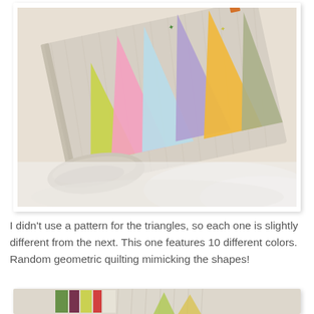[Figure (photo): A folded/rolled quilt or placemat with colorful triangles (yellow-green, pink, light blue, purple, orange, sage green) on a beige/linen background, photographed on a white surface.]
I didn't use a pattern for the triangles, so each one is slightly different from the next.  This one features 10 different colors.  Random geometric quilting mimicking the shapes!
[Figure (photo): Partial view of another quilt/textile with colorful stripes (green, dark red/maroon, yellow-green, red) on a beige background, partially visible at bottom of page.]